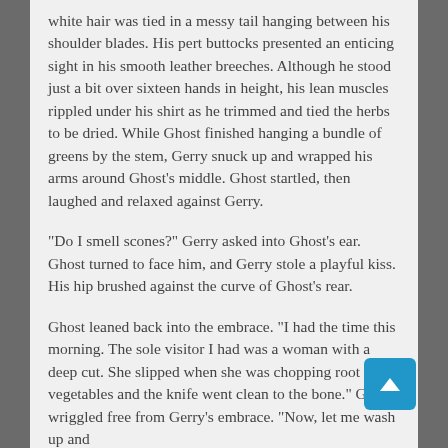white hair was tied in a messy tail hanging between his shoulder blades. His pert buttocks presented an enticing sight in his smooth leather breeches. Although he stood just a bit over sixteen hands in height, his lean muscles rippled under his shirt as he trimmed and tied the herbs to be dried. While Ghost finished hanging a bundle of greens by the stem, Gerry snuck up and wrapped his arms around Ghost’s middle. Ghost startled, then laughed and relaxed against Gerry.
“Do I smell scones?” Gerry asked into Ghost’s ear. Ghost turned to face him, and Gerry stole a playful kiss. His hip brushed against the curve of Ghost’s rear.
Ghost leaned back into the embrace. “I had the time this morning. The sole visitor I had was a woman with a deep cut. She slipped when she was chopping root vegetables and the knife went clean to the bone.” Ghost wriggled free from Gerry’s embrace. “Now, let me wash up and